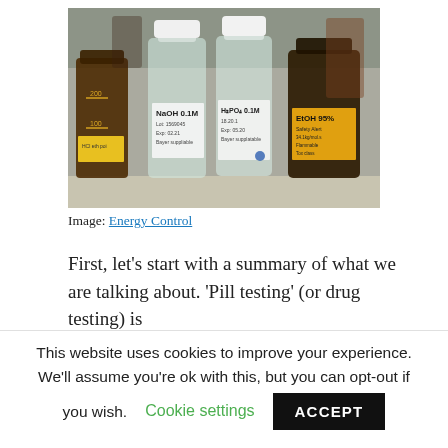[Figure (photo): Several laboratory chemical bottles of various sizes with labels, including amber and clear glass bottles with NaOH, H2PO4, and EtOH labels, arranged on a lab bench surface.]
Image: Energy Control
First, let’s start with a summary of what we are talking about. ‘Pill testing’ (or drug testing) is
This website uses cookies to improve your experience. We'll assume you're ok with this, but you can opt-out if you wish. Cookie settings ACCEPT